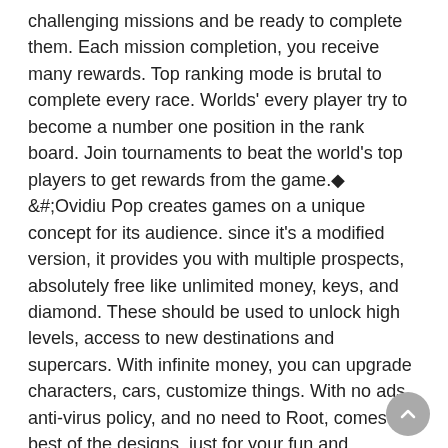challenging missions and be ready to complete them. Each mission completion, you receive many rewards. Top ranking mode is brutal to complete every race. Worlds' every player try to become a number one position in the rank board. Join tournaments to beat the world's top players to get rewards from the game.&#; &#;Ovidiu Pop creates games on a unique concept for its audience. since it's a modified version, it provides you with multiple prospects, absolutely free like unlimited money, keys, and diamond. These should be used to unlock high levels, access to new destinations and supercars. With infinite money, you can upgrade characters, cars, customize things. With no ads, anti-virus policy, and no need to Root, comes the best of the designs, just for your fun and enjoyment.&#; &#;"Well, don't. It's a waste of time," said Anne. Then she added suddenly: &#;Idle Miner Kingdom - Fantasy RPG manager simulator Mod Idle King - Fantasy RPG manager simulator Mod Apk V1.1.403 Feature